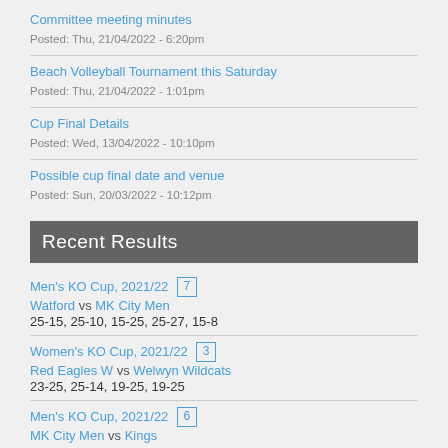Committee meeting minutes
Posted: Thu, 21/04/2022 - 6:20pm
Beach Volleyball Tournament this Saturday
Posted: Thu, 21/04/2022 - 1:01pm
Cup Final Details
Posted: Wed, 13/04/2022 - 10:10pm
Possible cup final date and venue
Posted: Sun, 20/03/2022 - 10:12pm
Recent Results
Men's KO Cup, 2021/22 [7]
Watford vs MK City Men
25-15, 25-10, 15-25, 25-27, 15-8
Women's KO Cup, 2021/22 [3]
Red Eagles W vs Welwyn Wildcats
23-25, 25-14, 19-25, 19-25
Men's KO Cup, 2021/22 [6]
MK City Men vs Kings